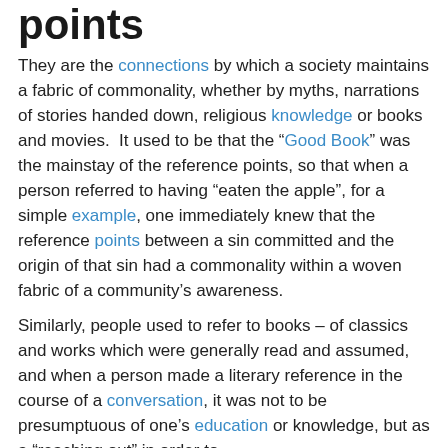points
They are the connections by which a society maintains a fabric of commonality, whether by myths, narrations of stories handed down, religious knowledge or books and movies.  It used to be that the “Good Book” was the mainstay of the reference points, so that when a person referred to having “eaten the apple”, for a simple example, one immediately knew that the reference points between a sin committed and the origin of that sin had a commonality within a woven fabric of a community’s awareness.
Similarly, people used to refer to books – of classics and works which were generally read and assumed, and when a person made a literary reference in the course of a conversation, it was not to be presumptuous of one’s education or knowledge, but as a “reaching out” in order to